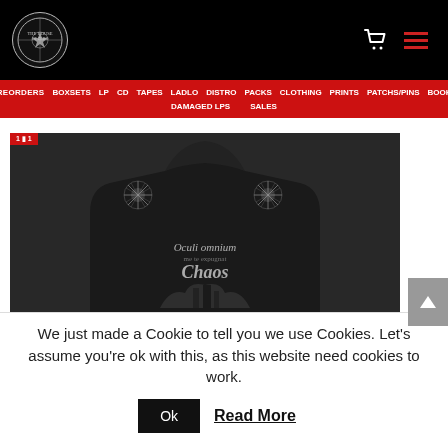Navigation header with logo, cart icon, and hamburger menu
PREORDERS  BOXSETS  LP  CD  TAPES  LADLO  DISTRO  PACKS  CLOTHING  PRINTS  PATCHS/PINS  BOOKS  DAMAGED LPS  SALES
[Figure (photo): Back view of a dark hoodie with ornate graphic design reading 'Oculi omnium' and 'Chaos' with sun/star motifs on shoulders]
We just made a Cookie to tell you we use Cookies. Let's assume you're ok with this, as this website need cookies to work.
Ok  Read More